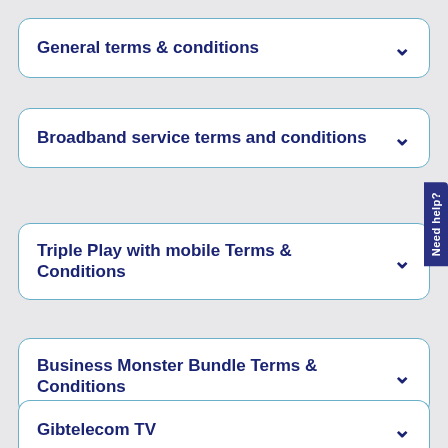General terms & conditions
Broadband service terms and conditions
Triple Play with mobile Terms & Conditions
Business Monster Bundle Terms & Conditions
Gibtelecom TV